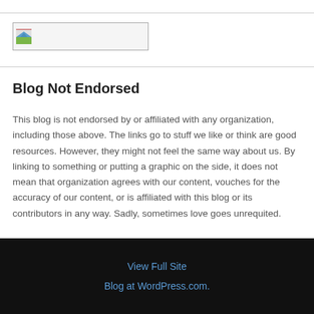[Figure (logo): Small image/logo placeholder with a landscape icon thumbnail in a bordered box]
Blog Not Endorsed
This blog is not endorsed by or affiliated with any organization, including those above. The links go to stuff we like or think are good resources. However, they might not feel the same way about us. By linking to something or putting a graphic on the side, it does not mean that organization agrees with our content, vouches for the accuracy of our content, or is affiliated with this blog or its contributors in any way. Sadly, sometimes love goes unrequited.
View Full Site
Blog at WordPress.com.